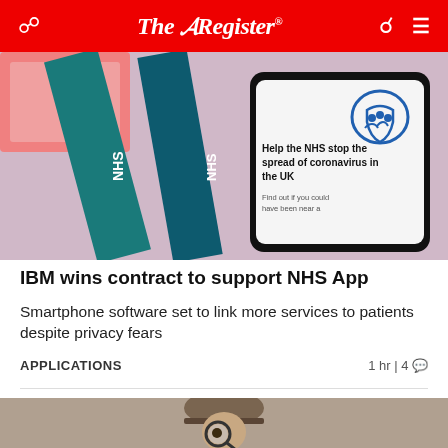The Register
[Figure (photo): NHS lanyards and a smartphone showing 'Help the NHS stop the spread of coronavirus in the UK' app]
IBM wins contract to support NHS App
Smartphone software set to link more services to patients despite privacy fears
APPLICATIONS   1 hr | 4 💬
[Figure (photo): Man in bowler hat looking through a magnifying glass]